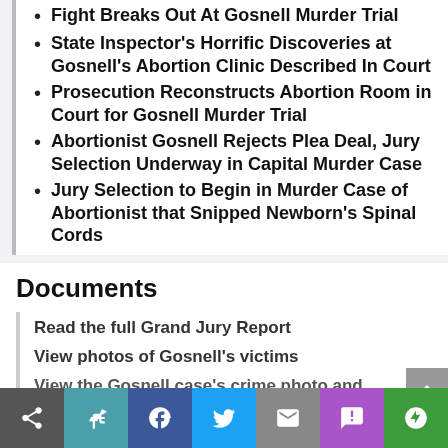Fight Breaks Out At Gosnell Murder Trial
State Inspector's Horrific Discoveries at Gosnell's Abortion Clinic Described In Court
Prosecution Reconstructs Abortion Room in Court for Gosnell Murder Trial
Abortionist Gosnell Rejects Plea Deal, Jury Selection Underway in Capital Murder Case
Jury Selection to Begin in Murder Case of Abortionist that Snipped Newborn's Spinal Cords
Documents
Read the full Grand Jury Report
View photos of Gosnell's victims
View the Gosnell case's crime photo and...